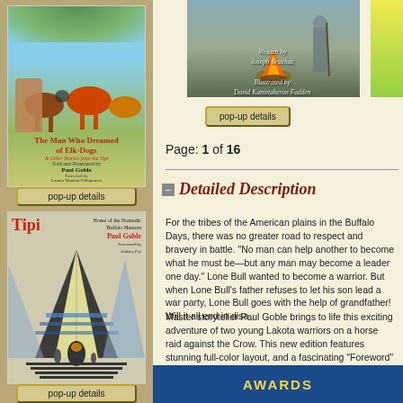[Figure (illustration): Book cover: The Man Who Dreamed of Elk-Dogs & Other Stories from the Tipi, illustrated with horses and Native American figures, told and illustrated by Paul Goble, Foreword by Lauren Waukau-Villagomez]
pop-up details
[Figure (illustration): Book cover: Tipi Home of the Nomadic Buffalo Hunters by Paul Goble, illustrated with tipi designs]
pop-up details
[Figure (illustration): Book cover detail - partial view at bottom, with red text]
[Figure (illustration): Book cover image: Written by Joseph Bruchac, Illustrated by David Kanietakeron Fadden - campfire scene]
pop-up details
Page: 1 of 16
Detailed Description
For the tribes of the American plains in the Buffalo Days, there was no greater road to respect and bravery in battle. "No man can help another to become what he must be—but any man may become a leader one day." Lone Bull wanted to become a warrior. But when Lone Bull's father refuses to let his son lead a war party, Lone Bull goes with the help of grandfather! Will it all end in disaster?
Master storyteller Paul Goble brings to life this exciting adventure of two young Lakota warriors on a horse raid against the Crow. This new edition features stunning full-color layout, and a fascinating "Foreword" from world-
AWARDS